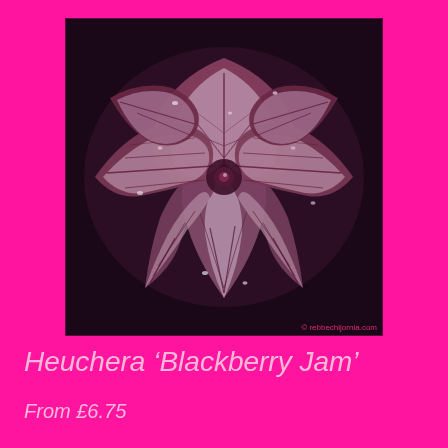[Figure (photo): Close-up photograph of Heuchera 'Blackberry Jam' plant showing dark burgundy and silvery-purple leaves with intricate dark veining, multiple lobed leaves arranged in a rosette pattern with water droplets visible]
Heuchera ‘Blackberry Jam’
From £6.75